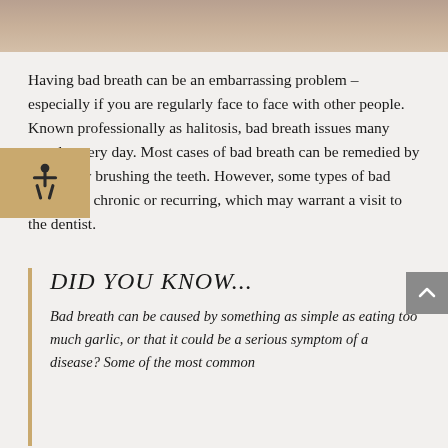[Figure (photo): Partial photo strip at top of page, showing blurred/cropped image of a person]
Having bad breath can be an embarrassing problem – especially if you are regularly face to face with other people. Known professionally as halitosis, bad breath issues many people every day. Most cases of bad breath can be remedied by efficiently brushing the teeth. However, some types of bad breath are chronic or recurring, which may warrant a visit to the dentist.
DID YOU KNOW...
Bad breath can be caused by something as simple as eating too much garlic, or that it could be a serious symptom of a disease? Some of the most common